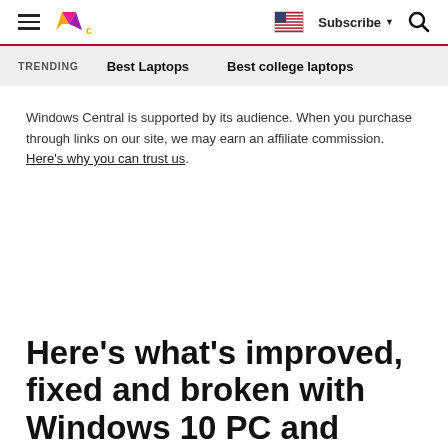Windows Central | Subscribe | Search
TRENDING   Best Laptops   Best college laptops
Windows Central is supported by its audience. When you purchase through links on our site, we may earn an affiliate commission. Here's why you can trust us.
Here's what's improved, fixed and broken with Windows 10 PC and